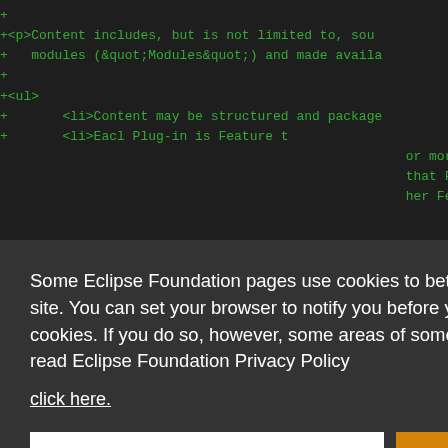+
+<p>Content includes, but is not limited to, sou
+   modules (&quot;Modules&quot;) and made availa
+
+<ul>
+       <li>Content may be structured and package
+       <li>Eacl Plug-in is Feature t
                                      be packa
                                      or more
                                      that Feat
                                      her Featu

                                      lug-ins a
                                      h files n
                                      wing loc

                                      ry</li>
                                      ries</li>
                                      s package
                                      tory name

+
Some Eclipse Foundation pages use cookies to better serve you when you return to the site. You can set your browser to notify you before you receive a cookie or turn off cookies. If you do so, however, some areas of some sites may not function properly. To read Eclipse Foundation Privacy Policy
click here.
Decline
Allow cookies